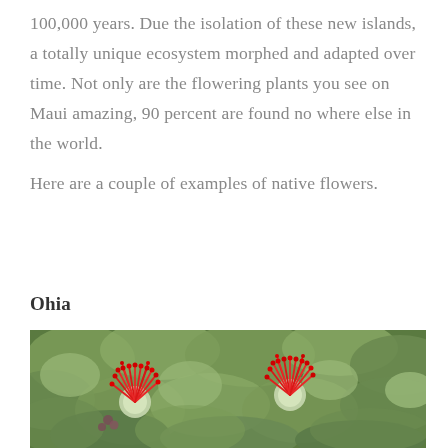100,000 years. Due the isolation of these new islands, a totally unique ecosystem morphed and adapted over time. Not only are the flowering plants you see on Maui amazing, 90 percent are found no where else in the world.
Here are a couple of examples of native flowers.
Ohia
[Figure (photo): Close-up photograph of two Ohia lehua flowers with bright red spiky stamens and green rounded leaves in the background.]